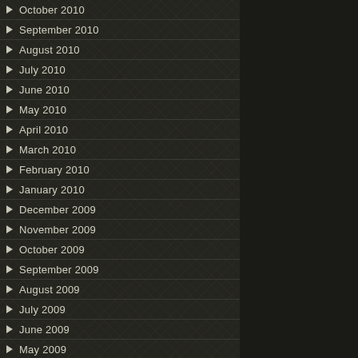October 2010
September 2010
August 2010
July 2010
June 2010
May 2010
April 2010
March 2010
February 2010
January 2010
December 2009
November 2009
October 2009
September 2009
August 2009
July 2009
June 2009
May 2009
April 2009
March 2009
February 2009
January 2009
December 2008
November 2008